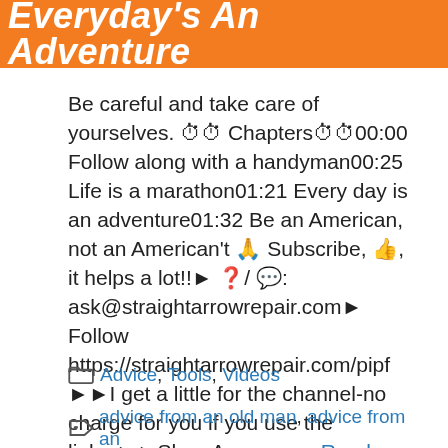Everyday's An Adventure
Be careful and take care of yourselves. ⏱⏱ Chapters⏱⏱00:00 Follow along with a handyman00:25 Life is a marathon01:21 Every day is an adventure01:32 Be an American, not an American't 🙏 Subscribe, 👍, it helps a lot!!► ❓/ 💬: ask@straightarrowrepair.com► Follow https://straightarrowrepair.com/pipf ►►I get a little for the channel-no charge for you if you use the links:►►Shop Amazon ... Read more
Advice, Tools, Videos
advice from an old man, advice from an